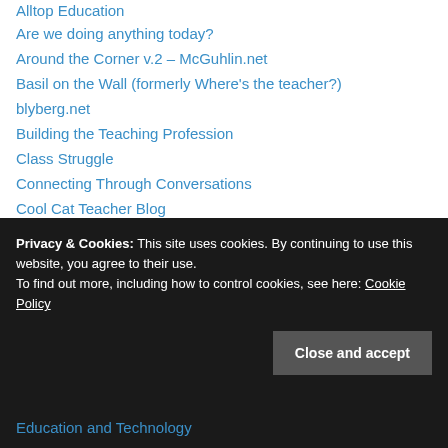Alltop Education
Are we doing anything today?
Around the Corner v.2 – McGuhlin.net
Basil on the Wall (formerly Where's the teacher?)
blyberg.net
Building the Teaching Profession
Class Struggle
Connecting Through Conversations
Cool Cat Teacher Blog
Curricublog, Tony's
D-Ed Reckoning
Daily Hurricane
Dallas Morning News blog on DISD
Dana Goldstein, Lady Wonk
Privacy & Cookies: This site uses cookies. By continuing to use this website, you agree to their use. To find out more, including how to control cookies, see here: Cookie Policy
Education and Technology